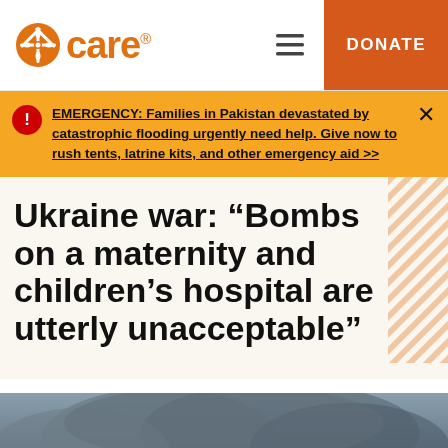care® [menu] DONATE
EMERGENCY: Families in Pakistan devastated by catastrophic flooding urgently need help. Give now to rush tents, latrine kits, and other emergency aid >>
Ukraine war: “Bombs on a maternity and children’s hospital are utterly unacceptable”
[Figure (photo): Photograph showing smoke and dark haze, likely depicting aftermath of bombing or explosion in Ukraine]